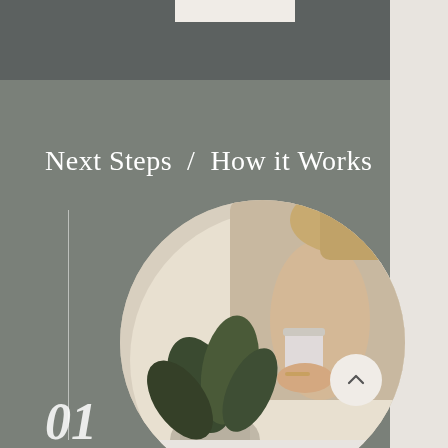Next Steps  /  How it Works
[Figure (photo): Circular photo of a woman holding a white cup near a green potted plant on a white surface]
01